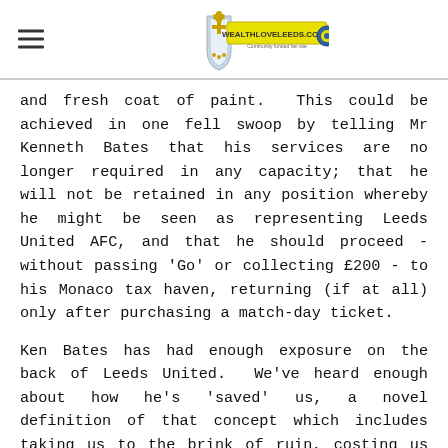WEALLLOVEELEEDS.CO.UK
and fresh coat of paint.  This could be achieved in one fell swoop by telling Mr Kenneth Bates that his services are no longer required in any capacity; that he will not be retained in any position whereby he might be seen as representing Leeds United AFC, and that he should proceed - without passing 'Go' or collecting £200 - to his Monaco tax haven, returning (if at all) only after purchasing a match-day ticket.
Ken Bates has had enough exposure on the back of Leeds United.  We've heard enough about how he's 'saved' us, a novel definition of that concept which includes taking us to the brink of ruin, costing us oodles of money in the funding of his endless court battles, presiding over relegation, administration and a points-deduction saga that was a complex and migraine-inducing mess. Against this backdrop, you have the